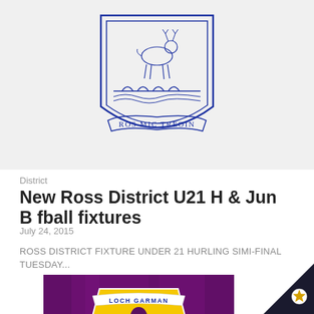[Figure (logo): New Ross GAA crest - blue coat of arms with deer, bridge and banner reading ROS MIC TREOIN]
District
New Ross District U21 H & Jun B fball fixtures
July 24, 2015
ROSS DISTRICT FIXTURE UNDER 21 HURLING SIMI-FINAL TUESDAY...
[Figure (photo): Close-up of a purple GAA jersey with Wexford Loch Garman crest - yellow shield with hurler figure, banner reading LOCH GARMAN at top and Le ceal agus lámh at bottom]